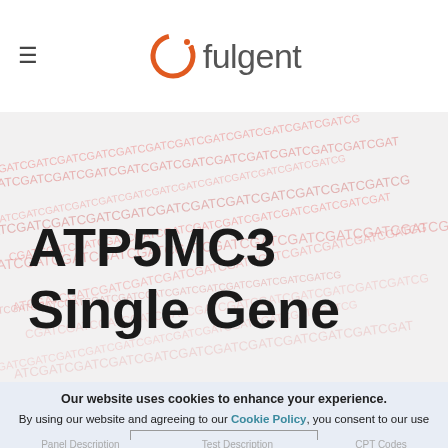Fulgent (logo header with hamburger menu)
[Figure (illustration): Hero banner with repeating pink/red DNA sequence text (ATCGATCGATCG...) on a light gray background with the title ATP5MC3 Single Gene overlaid]
ATP5MC3 Single Gene
Our website uses cookies to enhance your experience. By using our website and agreeing to our Cookie Policy, you consent to our use of cookies.
ACCEPT
Panel Description   Test Description   CPT Codes